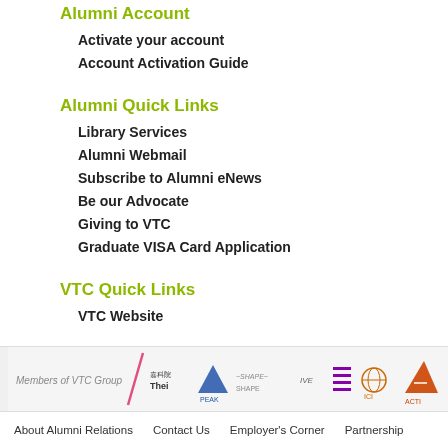Alumni Account
Activate your account
Account Activation Guide
Alumni Quick Links
Library Services
Alumni Webmail
Subscribe to Alumni eNews
Be our Advocate
Giving to VTC
Graduate VISA Card Application
VTC Quick Links
VTC Website
[Figure (logo): Members of VTC Group logos: Thei, PEAK, SHAPE, IVE, and other member institution logos]
About Alumni Relations   Contact Us   Employer's Corner   Partnership